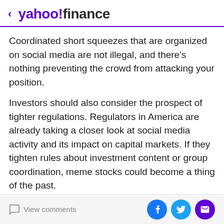< yahoo!finance
Coordinated short squeezes that are organized on social media are not illegal, and there's nothing preventing the crowd from attacking your position.
Investors should also consider the prospect of tighter regulations. Regulators in America are already taking a closer look at social media activity and its impact on capital markets. If they tighten rules about investment content or group coordination, meme stocks could become a thing of the past.
Bottom line
The rise of meme stocks is, perhaps, the most fascinating
View comments